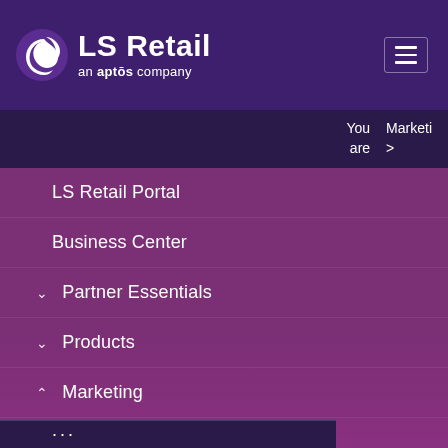LS Retail an aptos company
You are  Marketing >
LS Retail Portal
Business Center
Partner Essentials
Products
Marketing
Branding
Webinars
Da
Ma
27,
20,
12:
LS